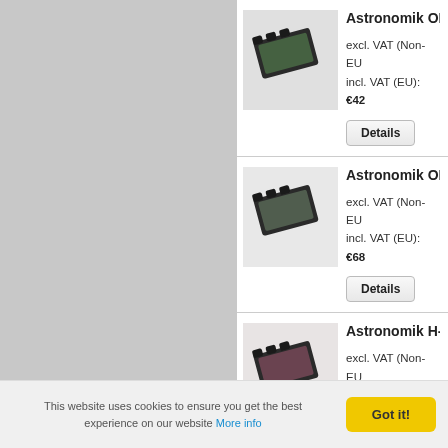[Figure (photo): Left gray sidebar panel]
[Figure (photo): Astronomik OII filter product image - rectangular filter module with green tinted glass, tilted view]
Astronomik OI
excl. VAT (Non-EU
incl. VAT (EU): €42
Details
[Figure (photo): Astronomik OII filter product image - second item, rectangular filter module with green-gray tinted glass, tilted view]
Astronomik OI
excl. VAT (Non-EU
incl. VAT (EU): €68
Details
[Figure (photo): Astronomik H-alpha filter product image - rectangular filter module with dark reddish-pink tinted glass, tilted view]
Astronomik H-
excl. VAT (Non-EU
incl. VAT (EU): €41
Details
This website uses cookies to ensure you get the best experience on our website More info
Got it!